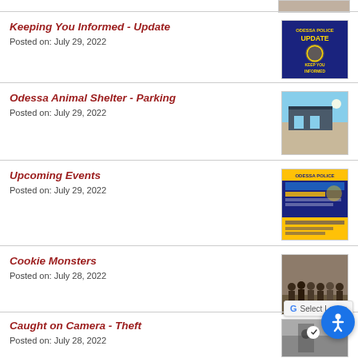[Figure (photo): Partial image at top of page (cropped)]
Keeping You Informed - Update
Posted on: July 29, 2022
[Figure (photo): Odessa Police Department - Keep You Informed Update badge/logo on dark blue background]
Odessa Animal Shelter - Parking
Posted on: July 29, 2022
[Figure (photo): Odessa Animal Shelter building exterior photo]
Upcoming Events
Posted on: July 29, 2022
[Figure (photo): Odessa Police upcoming events flyer on blue/yellow background]
Cookie Monsters
Posted on: July 28, 2022
[Figure (photo): Group photo of people standing together indoors]
Caught on Camera - Theft
Posted on: July 28, 2022
[Figure (photo): Photo of person in store, partially visible]